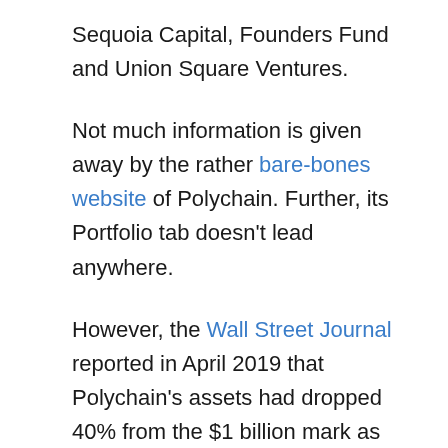Sequoia Capital, Founders Fund and Union Square Ventures.
Not much information is given away by the rather bare-bones website of Polychain. Further, its Portfolio tab doesn't lead anywhere.
However, the Wall Street Journal reported in April 2019 that Polychain's assets had dropped 40% from the $1 billion mark as of the end of 2018, according to a March 2019 filing. “Fund’s decline in assets largely due to a drop in the value of its holdings, rather than redemptions, say people familiar with the situation,” explained the WSJ.
Olaf Carlson-Wea, the first employee and former head